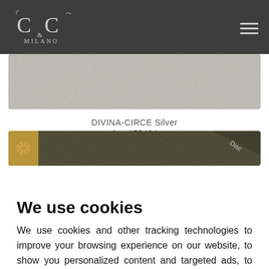C & C Milano
[Figure (photo): Light silver/beige textured fabric swatch]
DIVINA-CIRCE Silver
Art. 175424
[Figure (photo): Dark olive/brown textured fabric swatch with decorative gold emblem and 'Disc' label partially visible]
We use cookies
We use cookies and other tracking technologies to improve your browsing experience on our website, to show you personalized content and targeted ads, to analyze our website traffic, and to understand where our visitors are coming